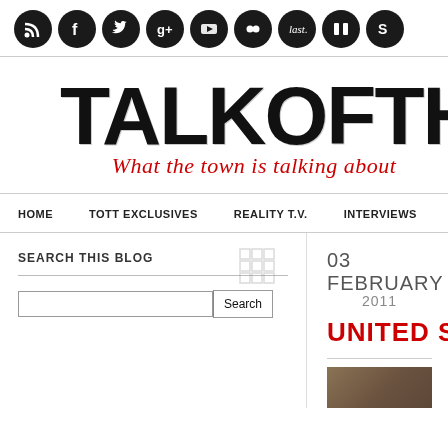[Figure (infographic): Social media icons row: RSS, Facebook, Twitter, Google+, YouTube, Flickr, Last.fm, Instagram/IO, Skype — all circular black icons]
TALKOFTHE
What the town is talking about
HOME   TOTT EXCLUSIVES   REALITY T.V.   INTERVIEWS
SEARCH THIS BLOG
03 FEBRUARY
2011
UNITED STAT